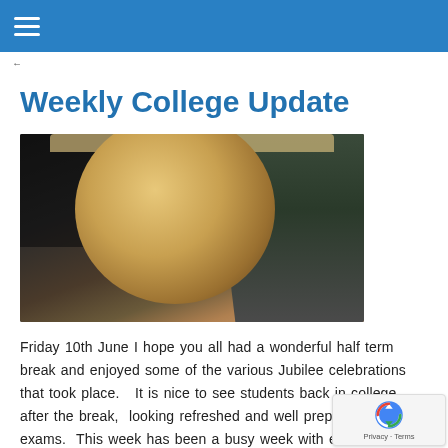≡
Weekly College Update
[Figure (photo): Two young people holding an open pizza box with a cheese pizza inside, smiling at the camera. Dark background.]
Friday 10th June I hope you all had a wonderful half term break and enjoyed some of the various Jubilee celebrations that took place.   It is nice to see students back in college after the break,  looking refreshed and well prepped for their exams.  This week has been a busy week with exams and I… Read more »
Weekly College Update